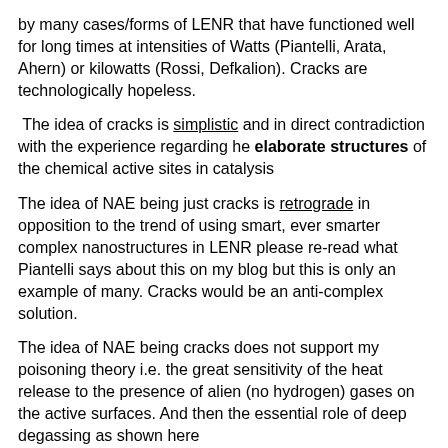by many cases/forms of LENR that have functioned well for long times at intensities of Watts (Piantelli, Arata, Ahern) or kilowatts (Rossi, Defkalion). Cracks are technologically hopeless.
The idea of cracks is simplistic and in direct contradiction with the experience regarding he elaborate structures of the chemical active sites in catalysis
The idea of NAE being just cracks is retrograde in opposition to the trend of using smart, ever smarter complex nanostructures in LENR please re-read what Piantelli says about this on my blog but this is only an example of many. Cracks would be an anti-complex solution.
The idea of NAE being cracks does not support my poisoning theory i.e. the great sensitivity of the heat release to the presence of alien (no hydrogen) gases on the active surfaces. And then the essential role of deep degassing as shown here http://egooutpeters.blogspot.ro/2013/08/why-pd-d-lenr-will-never-work.html is not more justified.